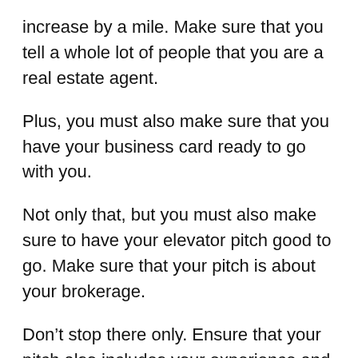increase by a mile. Make sure that you tell a whole lot of people that you are a real estate agent.
Plus, you must also make sure that you have your business card ready to go with you.
Not only that, but you must also make sure to have your elevator pitch good to go. Make sure that your pitch is about your brokerage.
Don't stop there only. Ensure that your pitch also includes your experience and the expertise that you have to offer.
Plus, you must also try to attend industry and